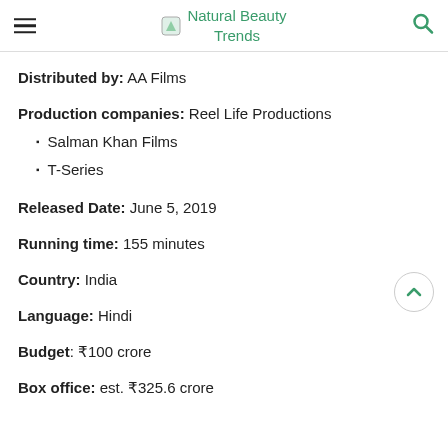Natural Beauty Trends
Distributed by: AA Films
Production companies: Reel Life Productions
Salman Khan Films
T-Series
Released Date: June 5, 2019
Running time: 155 minutes
Country: India
Language: Hindi
Budget: ₹100 crore
Box office: est. ₹325.6 crore